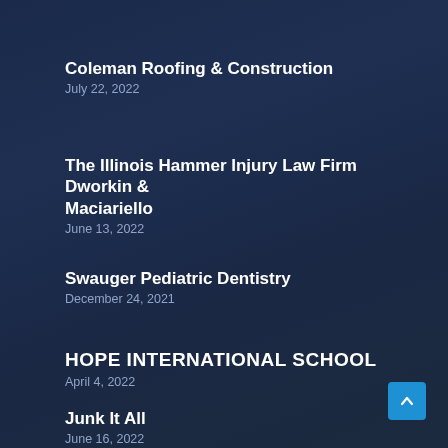Coleman Roofing & Construction
July 22, 2022
The Illinois Hammer Injury Law Firm Dworkin & Maciariello
June 13, 2022
Swauger Pediatric Dentistry
December 24, 2021
HOPE INTERNATIONAL SCHOOL
April 4, 2022
Junk It All
June 16, 2022